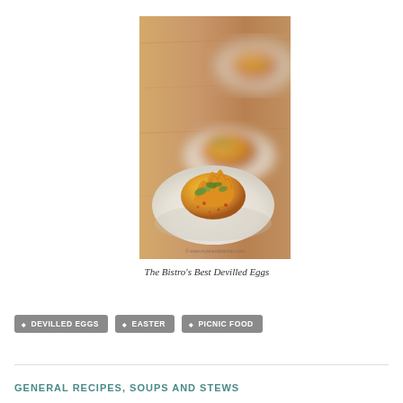[Figure (photo): Close-up photo of devilled eggs on a wooden board, showing a halved hard-boiled egg filled with a piped yellow yolk mixture topped with paprika and fresh herbs, with more eggs blurred in the background. Watermark reads © www.myislandskitchen.com]
The Bistro's Best Devilled Eggs
DEVILLED EGGS
EASTER
PICNIC FOOD
GENERAL RECIPES, SOUPS AND STEWS